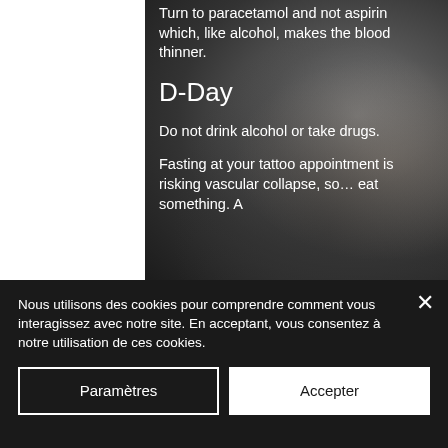[Figure (photo): Black and white close-up photo of a hand holding a tattoo needle, tattooing skin. A geometric tattoo design is visible in the lower left.]
Turn to paracetamol and not aspirin which, like alcohol, makes the blood thinner.
D-Day
Do not drink alcohol or take drugs.
Fasting at your tattoo appointment is risking vascular collapse, so… eat something. A
Nous utilisons des cookies pour comprendre comment vous interagissez avec notre site. En acceptant, vous consentez à notre utilisation de ces cookies.
Paramètres
Accepter